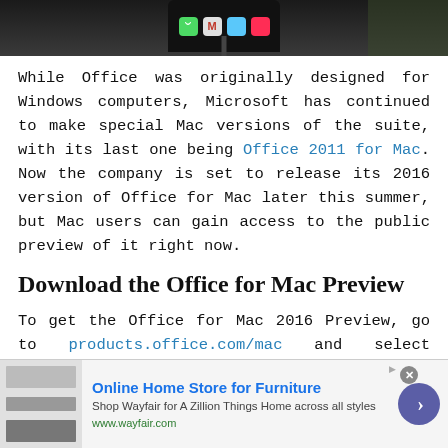[Figure (photo): Top portion of a smartphone mounted on a stand, showing app icons on screen including phone, Gmail, and music apps, against a dark background.]
While Office was originally designed for Windows computers, Microsoft has continued to make special Mac versions of the suite, with its last one being Office 2011 for Mac. Now the company is set to release its 2016 version of Office for Mac later this summer, but Mac users can gain access to the public preview of it right now.
Download the Office for Mac Preview
To get the Office for Mac 2016 Preview, go to products.office.com/mac and select "Download Now." It'll take up a little over 5 GB of space, so make sure you have enough room on your computer. You also need to be running Mac OS X 10.10 Yosemite. Once installed, the five applications (Excel, Word
[Figure (screenshot): Advertisement banner for Wayfair: Online Home Store for Furniture. Shop Wayfair for A Zillion Things Home across all styles. www.wayfair.com]